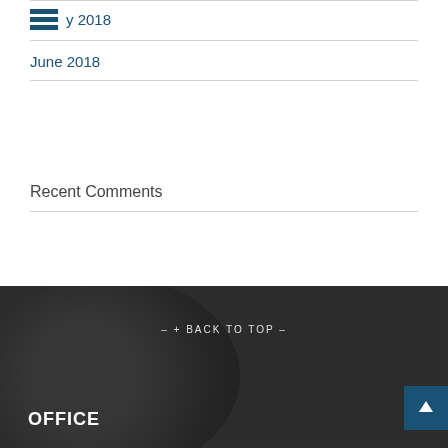July 2018
June 2018
Recent Comments
– + BACK TO TOP –
OFFICE